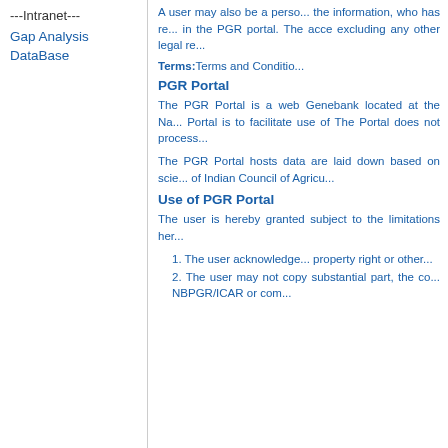---Intranet---
Gap Analysis
DataBase
A user may also be a person who seeks the information, who has registered in the PGR portal. The access excluding any other legal re...
Terms: Terms and Conditio...
PGR Portal
The PGR Portal is a web Genebank located at the Na... Portal is to facilitate use of The Portal does not process...
The PGR Portal hosts data are laid down based on scie... of Indian Council of Agricu...
Use of PGR Portal
The user is hereby granted subject to the limitations her...
The user acknowledge... property right or other...
The user may not copy substantial part, the co... NBPGR/ICAR or com...